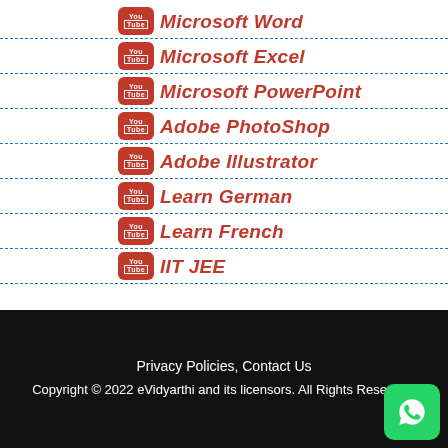Microsoft Word
Microsoft Excel
Microsoft PowerPoint
Adobe PhotoShop
Adobe Illustrator
Learn German
Learn French
IIT JEE
Privacy Policies, Contact Us
Copyright © 2022 eVidyarthi and its licensors. All Rights Reserved.